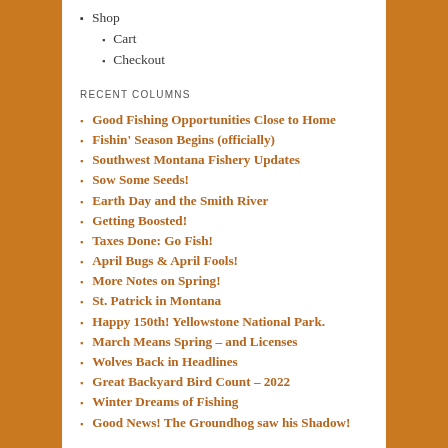Shop
Cart
Checkout
RECENT COLUMNS
Good Fishing Opportunities Close to Home
Fishin' Season Begins (officially)
Southwest Montana Fishery Updates
Sow Some Seeds!
Earth Day and the Smith River
Getting Boosted!
Taxes Done: Go Fish!
April Bugs & April Fools!
More Notes on Spring!
St. Patrick in Montana
Happy 150th! Yellowstone National Park.
March Means Spring – and Licenses
Wolves Back in Headlines
Great Backyard Bird Count – 2022
Winter Dreams of Fishing
Good News! The Groundhog saw his Shadow!